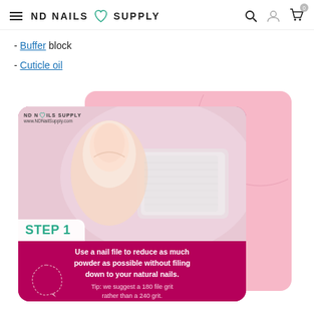ND Nails Supply — navigation bar with hamburger, logo, search, user, cart icons
- Buffer block
- Cuticle oil
[Figure (photo): Step 1 nail care infographic on pink/magenta background. Shows a close-up photo of a fingernail being filed, with bold text 'STEP 1' and instruction: 'Use a nail file to reduce as much powder as possible without filing down to your natural nails. Tip: we suggest a 180 file grit rather than a 240 grit.' ND Nails Supply logo and www.NDNailSupply.com shown at top left.]